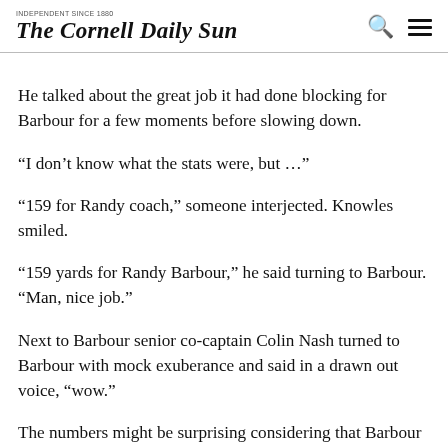The Cornell Daily Sun
He talked about the great job it had done blocking for Barbour for a few moments before slowing down. "I don't know what the stats were, but …" "159 for Randy coach," someone interjected. Knowles smiled. "159 yards for Randy Barbour," he said turning to Barbour. "Man, nice job." Next to Barbour senior co-captain Colin Nash turned to Barbour with mock exuberance and said in a drawn out voice, "wow." The numbers might be surprising considering that Barbour had only amassed 42 yards rushing since he had becoming the feature back in a platoon with Kilcoyne two weeks ago. Saturday, Barbour had eclipsed that total by the end of the first quarter. "Shane was a little nicked up here and there," Knowles